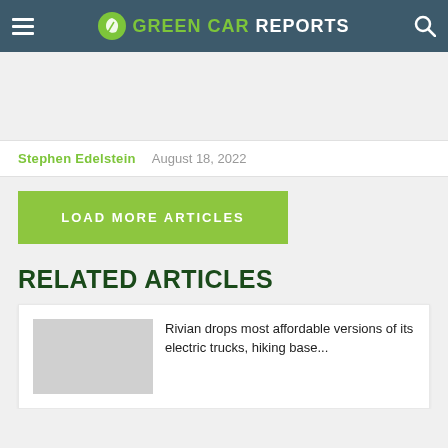GREEN CAR REPORTS
Stephen Edelstein   August 18, 2022
LOAD MORE ARTICLES
RELATED ARTICLES
Rivian drops most affordable versions of its electric trucks, hiking base...